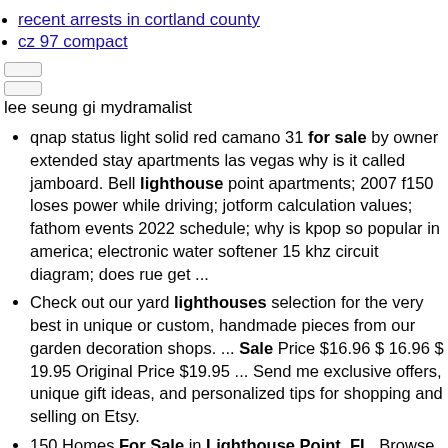recent arrests in cortland county
cz 97 compact
lee seung gi mydramalist
qnap status light solid red camano 31 for sale by owner extended stay apartments las vegas why is it called jamboard. Bell lighthouse point apartments; 2007 f150 loses power while driving; jotform calculation values; fathom events 2022 schedule; why is kpop so popular in america; electronic water softener 15 khz circuit diagram; does rue get ...
Check out our yard lighthouses selection for the very best in unique or custom, handmade pieces from our garden decoration shops. ... Sale Price $16.96 $ 16.96 $ 19.95 Original Price $19.95 ... Send me exclusive offers, unique gift ideas, and personalized tips for shopping and selling on Etsy.
150 Homes For Sale in Lighthouse Point, FL. Browse photos, see new properties, get open house info, and research neighborhoods on Trulia.
Bids close Sept. 16 on a fixer-upper lighthouse in Chesapeake Bay, 2 miles offshore near Baltimore. Is it your